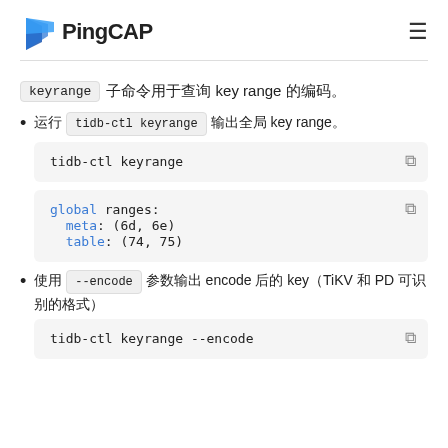PingCAP
keyrange 子命令用于查询 key range 的编码。
运行 tidb-ctl keyrange 输出全局 key range。
tidb-ctl keyrange
global ranges:
  meta: (6d, 6e)
  table: (74, 75)
使用 --encode 参数输出 encode 后的 key（TiKV 和 PD 可识别的格式）
tidb-ctl keyrange --encode